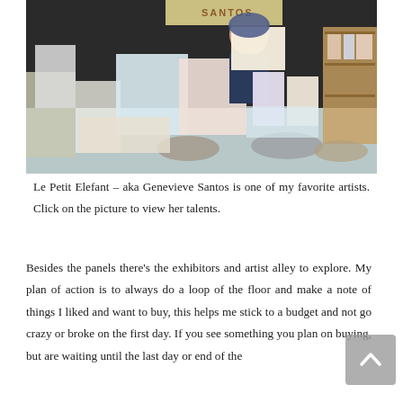[Figure (photo): A smiling woman with glasses and dark hair stands behind a table displaying numerous illustrated art prints, cards, and merchandise at a convention booth. A sign reading 'Santos' is visible in the background. A wooden shelving unit holds more items on the right.]
Le Petit Elefant – aka Genevieve Santos is one of my favorite artists. Click on the picture to view her talents.
Besides the panels there's the exhibitors and artist alley to explore. My plan of action is to always do a loop of the floor and make a note of things I liked and want to buy, this helps me stick to a budget and not go crazy or broke on the first day. If you see something you plan on buying, but are waiting until the last day or end of the